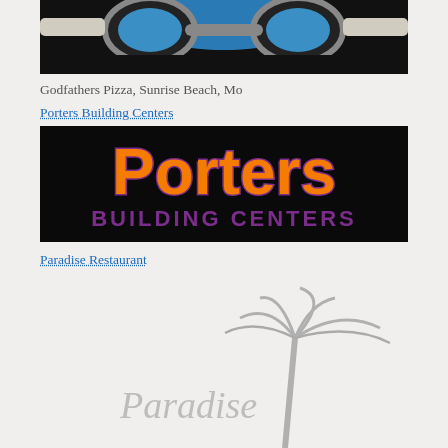[Figure (logo): Partial top of a logo image — appears to be a mascot face with goggles, black background with blue and grey tones, cropped at top]
Godfathers Pizza, Sunrise Beach, Mo
Porters Building Centers
[Figure (logo): Porters Building Centers logo — black background with large orange 'Porters' text and purple 'BUILDING CENTERS' text below]
Paradise Restaurant
[Figure (logo): Paradise Restaurant logo — shows a palm tree illustration and cursive 'Paradise' text in grey/silver tones, partially visible]